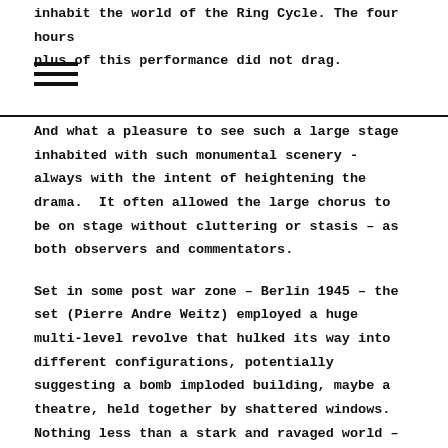inhabit the world of the Ring Cycle. The four hours plus of this performance did not drag.
And what a pleasure to see such a large stage inhabited with such monumental scenery - always with the intent of heightening the drama. It often allowed the large chorus to be on stage without cluttering or stasis – as both observers and commentators.
Set in some post war zone – Berlin 1945 – the set (Pierre Andre Weitz) employed a huge multi-level revolve that hulked its way into different configurations, potentially suggesting a bomb imploded building, maybe a theatre, held together by shattered windows. Nothing less than a stark and ravaged world – intimating the aftereffects of that